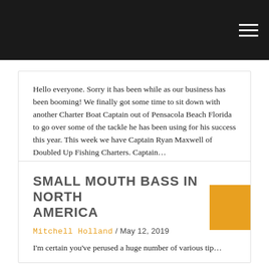Hello everyone. Sorry it has been while as our business has been booming! We finally got some time to sit down with another Charter Boat Captain out of Pensacola Beach Florida to go over some of the tackle he has been using for his success this year. This week we have Captain Ryan Maxwell of Doubled Up Fishing Charters. Captain…
Continue Reading →
SMALL MOUTH BASS IN NORTH AMERICA
Mitchell Holland / May 12, 2019
I'm certain you've perused a huge number of various tip…